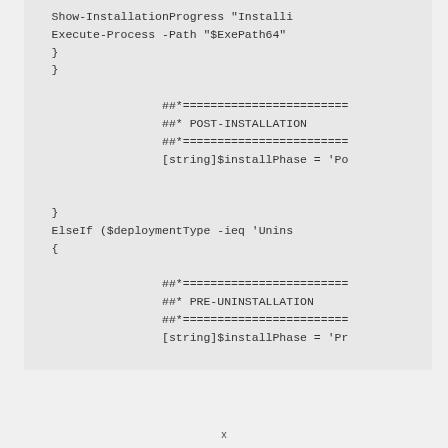Show-InstallationProgress "Installi
Execute-Process -Path "$ExePath64"
}
}

                ##*==========================
                ##* POST-INSTALLATION
                ##*==========================
                [string]$installPhase = 'Po

}
ElseIf ($deploymentType -ieq 'Unins
{

                ##*==========================
                ##* PRE-UNINSTALLATION
                ##*==========================
                [string]$installPhase = 'Pr
x